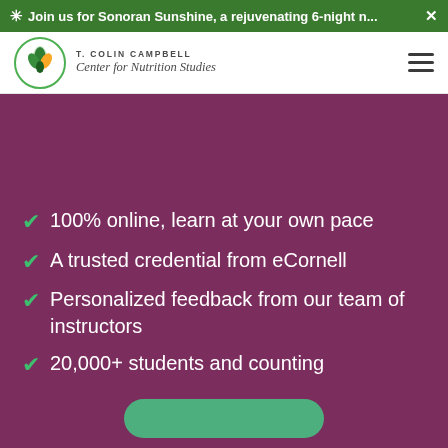✳ Join us for Sonoran Sunshine, a rejuvenating 6-night n... ✕
[Figure (logo): T. Colin Campbell Center for Nutrition Studies logo — green circle with three leaves (green and yellow), with text 'T. COLIN CAMPBELL Center for Nutrition Studies']
100% online, learn at your own pace
A trusted credential from eCornell
Personalized feedback from our team of instructors
20,000+ students and counting